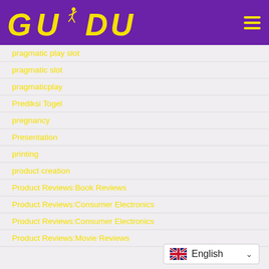[Figure (logo): GUDU logo with running figure silhouette in yellow on purple background, with hamburger menu icon]
pragmatic play slot
pragmatic slot
pragmaticplay
Prediksi Togel
pregnancy
Presentation
printing
product creation
Product Reviews:Book Reviews
Product Reviews:Consumer Electronics
Product Reviews:Consumer Electronics
Product Reviews:Movie Reviews
[Figure (other): Language selector widget showing UK flag and English text with dropdown arrow]